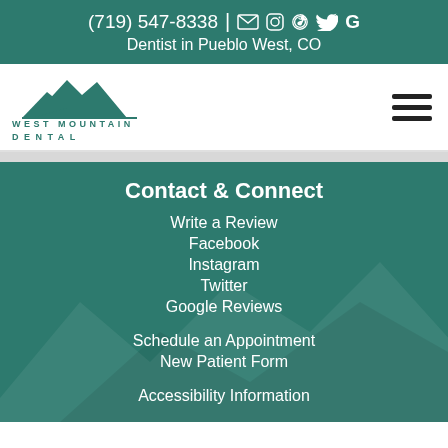(719) 547-8338 | [email icon] [facebook icon] [instagram icon] [twitter icon] [google icon]
Dentist in Pueblo West, CO
[Figure (logo): West Mountain Dental logo with mountain silhouette graphic and text 'WEST MOUNTAIN DENTAL' in teal]
Contact & Connect
Write a Review
Facebook
Instagram
Twitter
Google Reviews
Schedule an Appointment
New Patient Form
Accessibility Information